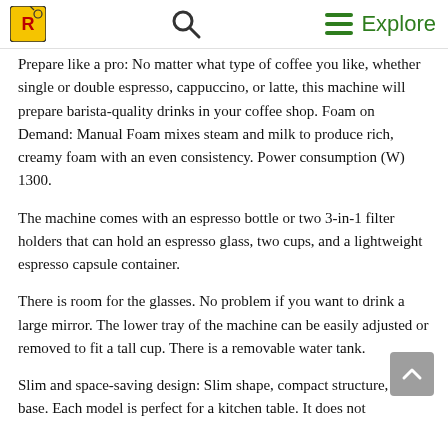[Logo] [Search icon] [Menu] Explore
Prepare like a pro: No matter what type of coffee you like, whether single or double espresso, cappuccino, or latte, this machine will prepare barista-quality drinks in your coffee shop. Foam on Demand: Manual Foam mixes steam and milk to produce rich, creamy foam with an even consistency. Power consumption (W) 1300.
The machine comes with an espresso bottle or two 3-in-1 filter holders that can hold an espresso glass, two cups, and a lightweight espresso capsule container.
There is room for the glasses. No problem if you want to drink a large mirror. The lower tray of the machine can be easily adjusted or removed to fit a tall cup. There is a removable water tank.
Slim and space-saving design: Slim shape, compact structure, slim base. Each model is perfect for a kitchen table. It does not